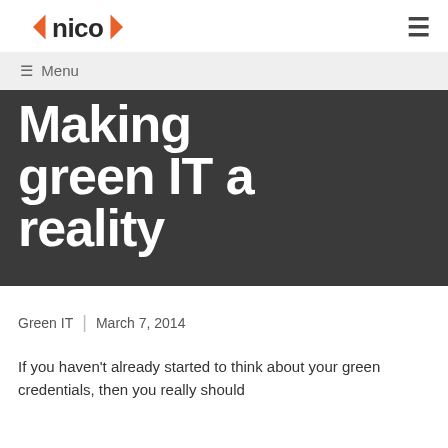nico | Menu
Making green IT a reality
Green IT | March 7, 2014
If you haven't already started to think about your green credentials, then you really should